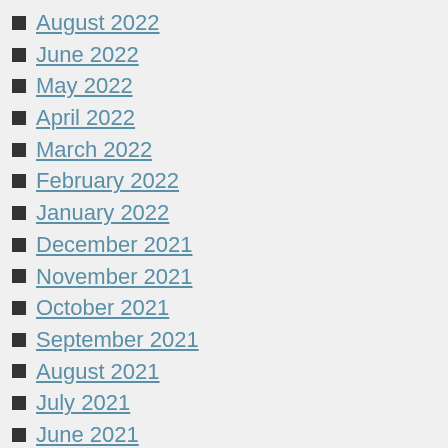August 2022
June 2022
May 2022
April 2022
March 2022
February 2022
January 2022
December 2021
November 2021
October 2021
September 2021
August 2021
July 2021
June 2021
May 2021
April 2021
March 2021
February 2021
January 2021